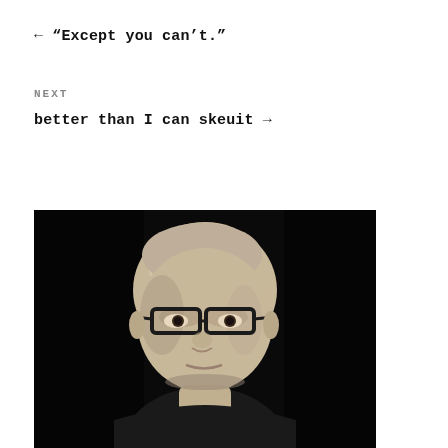← “Except you can’t.”
NEXT
better than I can skeuit →
[Figure (photo): Black and white portrait photo of a bald man wearing dark-framed glasses, looking directly at the camera, against a dark background, wearing a dark jacket.]